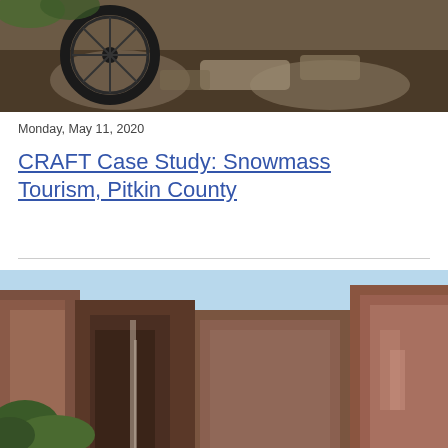[Figure (photo): Mountain biking on a rocky trail, close-up of bicycle wheel on rocks and dirt]
Monday, May 11, 2020
CRAFT Case Study: Snowmass Tourism, Pitkin County
[Figure (photo): Red rock canyon landscape with tall vertical cliff walls under a blue sky]